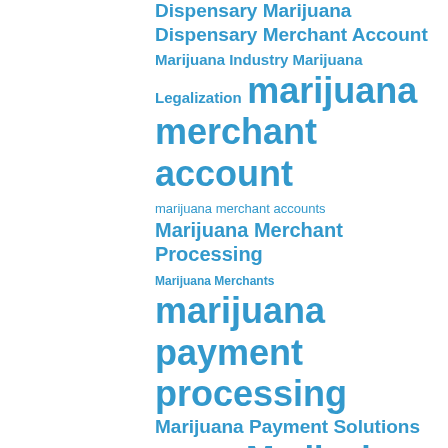[Figure (other): Word cloud with marijuana/cannabis industry related terms in bold blue text, varying in font size to indicate frequency/importance. Terms include: Dispensary Marijuana, Dispensary Merchant Account, Marijuana Industry Marijuana Legalization, marijuana merchant account, marijuana merchant accounts, Marijuana Merchant Processing, Marijuana Merchants, marijuana payment processing, Marijuana Payment Solutions, Marijuana POB, Medical Marijuana, Medical Marijuana Merchant Account, medical marijuana payment processing, medical marijuana payment processing account, Medicinal Marijuana Merchant Account, Medicinal Marijuana, Medicinal Marijuana Merchant Services]